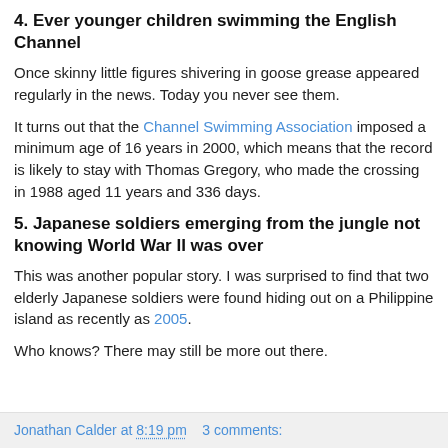4. Ever younger children swimming the English Channel
Once skinny little figures shivering in goose grease appeared regularly in the news. Today you never see them.
It turns out that the Channel Swimming Association imposed a minimum age of 16 years in 2000, which means that the record is likely to stay with Thomas Gregory, who made the crossing in 1988 aged 11 years and 336 days.
5. Japanese soldiers emerging from the jungle not knowing World War II was over
This was another popular story. I was surprised to find that two elderly Japanese soldiers were found hiding out on a Philippine island as recently as 2005.
Who knows? There may still be more out there.
Jonathan Calder at 8:19 pm   3 comments: